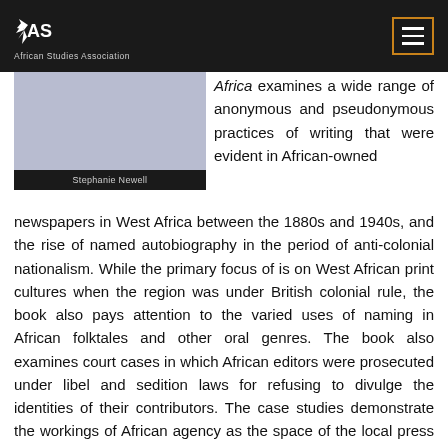ASA African Studies Association
[Figure (photo): Book cover with bluish-grey background and author name 'Stephanie Newell' on a dark bar]
Africa examines a wide range of anonymous and pseudonymous practices of writing that were evident in African-owned newspapers in West Africa between the 1880s and 1940s, and the rise of named autobiography in the period of anti-colonial nationalism. While the primary focus of is on West African print cultures when the region was under British colonial rule, the book also pays attention to the varied uses of naming in African folktales and other oral genres. The book also examines court cases in which African editors were prosecuted under libel and sedition laws for refusing to divulge the identities of their contributors. The case studies demonstrate the workings of African agency as the space of the local press became galvanized in creative, anti-hegemonic ways.